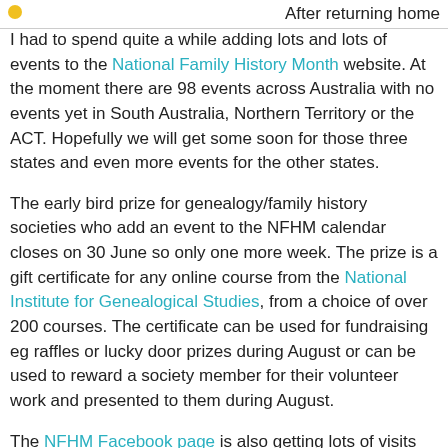After returning home I had to spend quite a while adding lots and lots of events to the National Family History Month website. At the moment there are 98 events across Australia with no events yet in South Australia, Northern Territory or the ACT. Hopefully we will get some soon for those three states and even more events for the other states.
The early bird prize for genealogy/family history societies who add an event to the NFHM calendar closes on 30 June so only one more week. The prize is a gift certificate for any online course from the National Institute for Genealogical Studies, from a choice of over 200 courses. The certificate can be used for fundraising eg raffles or lucky door prizes during August or can be used to reward a society member for their volunteer work and presented to them during August.
The NFHM Facebook page is also getting lots of visits but we would always love more Likes. If you haven't visited yet, pop over now and have a look. More information about NFHM and our sponsors and prize giveaway are on the